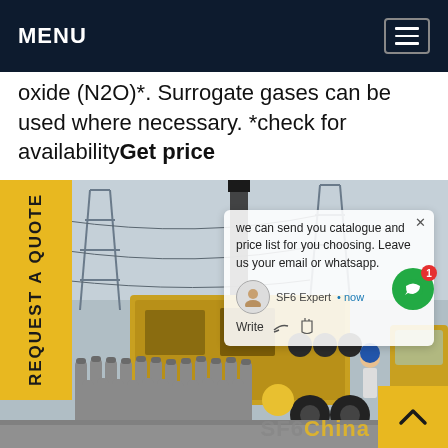MENU
oxide (N2O)*. Surrogate gases can be used where necessary. *check for availabilityGet price
[Figure (photo): Industrial electrical substation scene with rows of gray gas cylinders in the foreground, yellow service truck/equipment in the center, power transmission towers and lines in the background, and a worker in a blue helmet visible. A chat popup overlay reads: 'we can send you catalogue and price list for you choosing. Leave us your email or whatsapp.' with SF6 Expert label and Write/action buttons. A green chat circle icon with badge showing '1' is visible. A yellow vertical tab on the left reads 'REQUEST A QUOTE'. A yellow scroll-to-top button with a chevron is in the bottom right. 'SF6China' watermark in the lower right area.]
SF6China